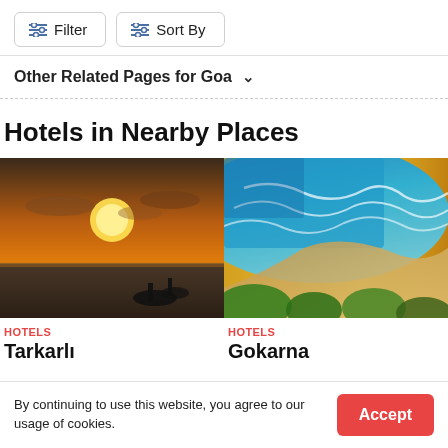Filter
Sort By
Other Related Pages for Goa
Hotels in Nearby Places
[Figure (photo): Sunset over the sea with silhouettes of people on the shore — Tarkarli]
HOTELS
Tarkarli
[Figure (photo): Aerial view of a tropical beach with blue water, waves, and palm trees — Gokarna]
HOTELS
Gokarna
By continuing to use this website, you agree to our usage of cookies.